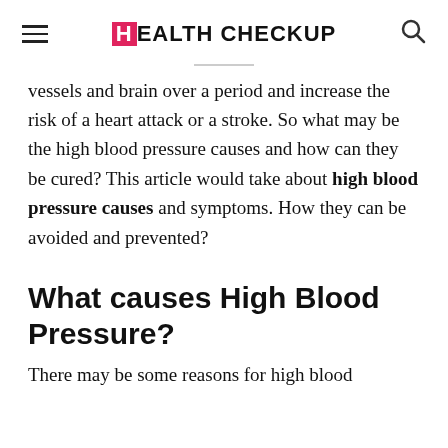HEALTH CHECKUP
vessels and brain over a period and increase the risk of a heart attack or a stroke. So what may be the high blood pressure causes and how can they be cured? This article would take about high blood pressure causes and symptoms. How they can be avoided and prevented?
What causes High Blood Pressure?
There may be some reasons for high blood